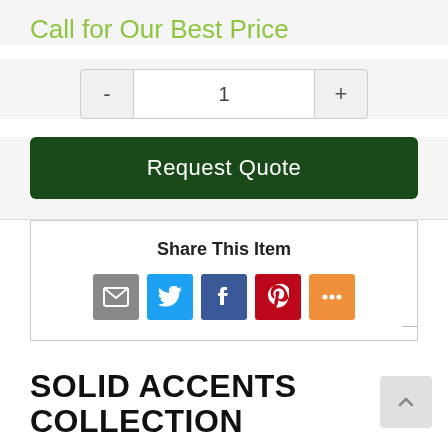Call for Our Best Price
[Figure (screenshot): Quantity selector with minus button, quantity field showing 1, and plus button]
Request Quote
Share This Item
[Figure (infographic): Social share icons: Email (grey), Twitter (blue), Facebook (blue), Pinterest (red), More (orange)]
SOLID ACCENTS COLLECTION
by Durham Furniture
The collection is available in a number of categories including 2 of...